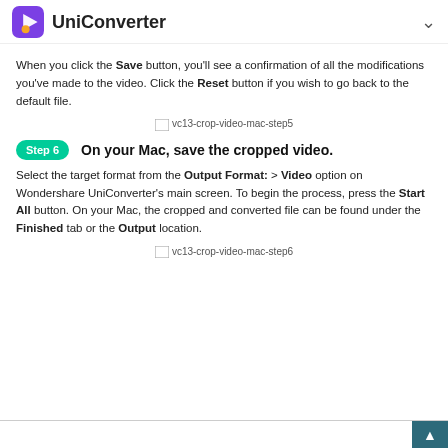UniConverter
When you click the Save button, you'll see a confirmation of all the modifications you've made to the video. Click the Reset button if you wish to go back to the default file.
[Figure (screenshot): Screenshot placeholder labeled vc13-crop-video-mac-step5]
Step 6  On your Mac, save the cropped video.
Select the target format from the Output Format: > Video option on Wondershare UniConverter's main screen. To begin the process, press the Start All button. On your Mac, the cropped and converted file can be found under the Finished tab or the Output location.
[Figure (screenshot): Screenshot placeholder labeled vc13-crop-video-mac-step6]